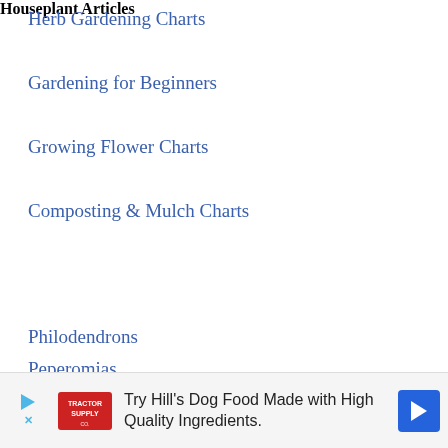Herb Gardening Charts
Gardening for Beginners
Growing Flower Charts
Composting & Mulch Charts
Houseplant Articles
Philodendrons
Peperomias
Pothos
Monsteras
Hoya
[Figure (other): Advertisement banner: Try Hill's Dog Food Made with High Quality Ingredients, featuring Tractor Supply logo and blue directional arrow icon]